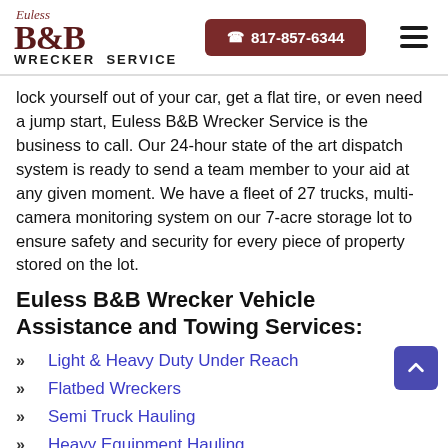Euless B&B WRECKER SERVICE | 817-857-6344
lock yourself out of your car, get a flat tire, or even need a jump start, Euless B&B Wrecker Service is the business to call. Our 24-hour state of the art dispatch system is ready to send a team member to your aid at any given moment. We have a fleet of 27 trucks, multi-camera monitoring system on our 7-acre storage lot to ensure safety and security for every piece of property stored on the lot.
Euless B&B Wrecker Vehicle Assistance and Towing Services:
Light & Heavy Duty Under Reach
Flatbed Wreckers
Semi Truck Hauling
Heavy Equipment Hauling